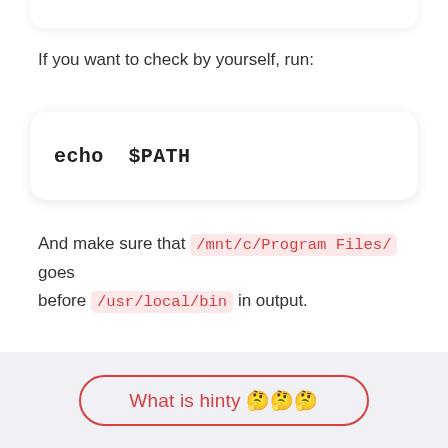If you want to check by yourself, run:
echo  $PATH
And make sure that /mnt/c/Program Files/ goes before /usr/local/bin in output.
So to fix it I suggest you disable Windows PATH in
What is hinty 🤔🤔🤔